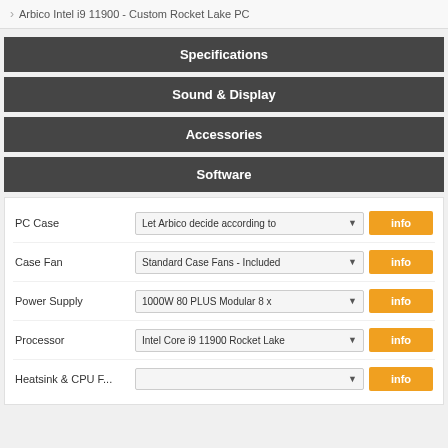Arbico Intel i9 11900 - Custom Rocket Lake PC
Specifications
Sound & Display
Accessories
Software
| Component | Selection | Action |
| --- | --- | --- |
| PC Case | Let Arbico decide according to | info |
| Case Fan | Standard Case Fans - Included | info |
| Power Supply | 1000W 80 PLUS Modular 8 x | info |
| Processor | Intel Core i9 11900 Rocket Lake | info |
| Heatsink & CPU F... |  | info |